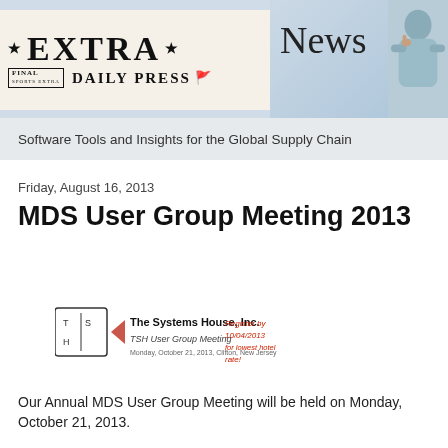[Figure (illustration): Newspaper 'EXTRA DAILY PRESS' banner header with 'News' text and a man on phone silhouette on a blue/grey background]
Software Tools and Insights for the Global Supply Chain
Friday, August 16, 2013
MDS User Group Meeting 2013
[Figure (logo): The Systems House, Inc. TSH User Group Meeting logo with handwritten red annotation: 'Register by 10/04/2013 for lowest hotel rate!']
Our Annual MDS User Group Meeting will be held on Monday, October 21, 2013.